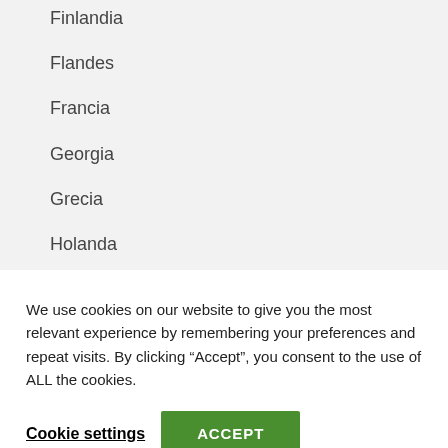Finlandia
Flandes
Francia
Georgia
Grecia
Holanda
Hungria
We use cookies on our website to give you the most relevant experience by remembering your preferences and repeat visits. By clicking “Accept”, you consent to the use of ALL the cookies.
Cookie settings
ACCEPT